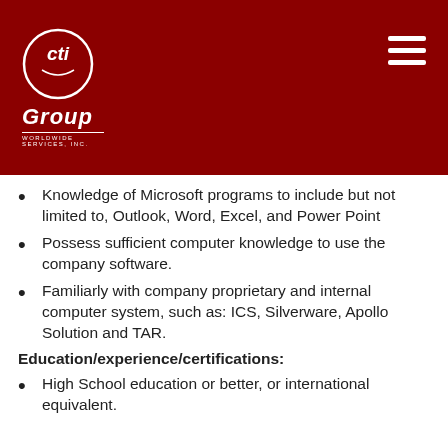[Figure (logo): CTI Group Worldwide Services Inc. logo on dark red header background with hamburger menu icon]
Knowledge of Microsoft programs to include but not limited to, Outlook, Word, Excel, and Power Point
Possess sufficient computer knowledge to use the company software.
Familiarly with company proprietary and internal computer system, such as: ICS, Silverware, Apollo Solution and TAR.
Education/experience/certifications:
High School education or better, or international equivalent.